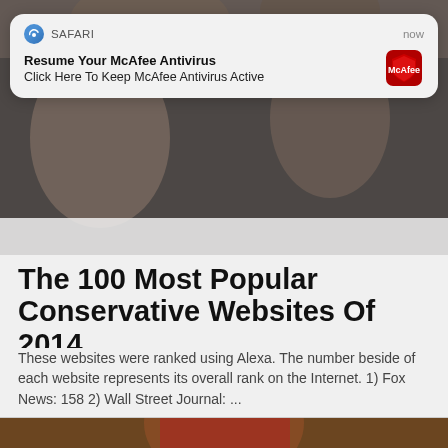[Figure (screenshot): Partial view of a photo (blurred/obscured) at top of page behind notification card]
[Figure (screenshot): iOS Safari browser notification card: 'SAFARI  now / Resume Your McAfee Antivirus / Click Here To Keep McAfee Antivirus Active' with McAfee shield logo]
[Figure (photo): Photo partially visible below notification card, appears to be people in background]
The 100 Most Popular Conservative Websites Of 2014
These websites were ranked using Alexa. The number beside of each website represents its overall rank on the Internet. 1) Fox News: 158 2) Wall Street Journal: ...
[Figure (photo): Photo of a person in a red football jersey holding a football, with an Arkansas Razorbacks logo visible]